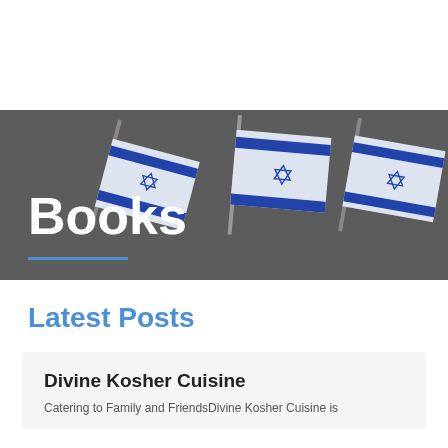[Figure (photo): Dark grey banner with three Israeli flags in the background, partially visible, and the word 'Books' in large white bold text with a blue underline beneath it.]
Latest Posts
Divine Kosher Cuisine
Catering to Family and FriendsDivine Kosher Cuisine is